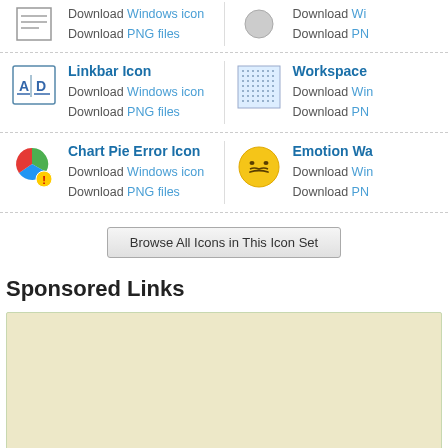Download Windows icon
Download PNG files
Download Windows icon
Download PNG files
Linkbar Icon
Download Windows icon
Download PNG files
Workspace
Download Windows icon
Download PNG files
Chart Pie Error Icon
Download Windows icon
Download PNG files
Emotion Wa...
Download Windows icon
Download PNG files
Browse All Icons in This Icon Set
Sponsored Links
[Figure (other): Advertisement placeholder box with beige/tan background]